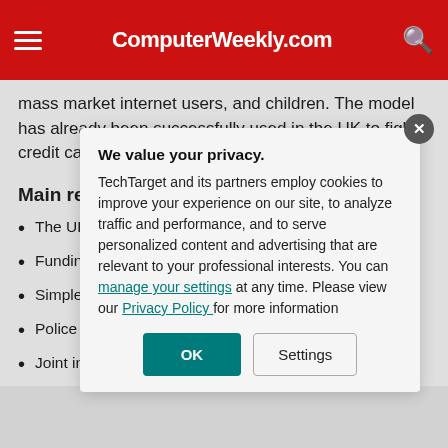ComputerWeekly.com
mass market internet users, and children. The model has already been successfully used in the UK to fight credit card fraud.
Main recommendations
The UK shou… G8 in 2005 t… crime
Funding sho… government,… to improve c…
Simple proce… if they suspe…
Police guide… should be m… and private i…
Joint industr… developed t…
[Figure (screenshot): Privacy consent modal dialog with title 'We value your privacy.' containing text about TechTarget cookies policy, links to 'manage your settings' and 'Privacy Policy', and two buttons: 'OK' and 'Settings'. A close button (X) appears in the top-right corner.]